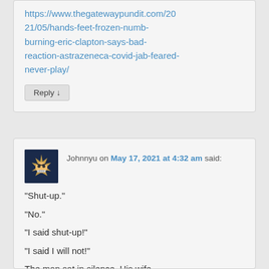https://www.thegatewaypundit.com/2021/05/hands-feet-frozen-numb-burning-eric-clapton-says-bad-reaction-astrazeneca-covid-jab-feared-never-play/
Reply ↓
Johnnyu on May 17, 2021 at 4:32 am said:
“Shut-up.”
“No.”
“I said shut-up!”
“I said I will not!”

The man sat in silence. His wife